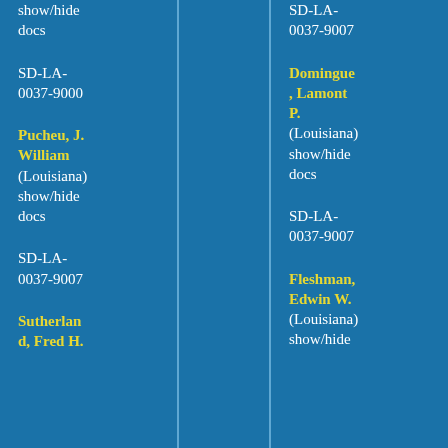show/hide docs
SD-LA-0037-9000
Pucheu, J. William (Louisiana) show/hide docs
SD-LA-0037-9007
Sutherland, Fred H.
SD-LA-0037-9007
Domingue, Lamont P. (Louisiana) show/hide docs
SD-LA-0037-9007
Fleshman, Edwin W. (Louisiana) show/hide